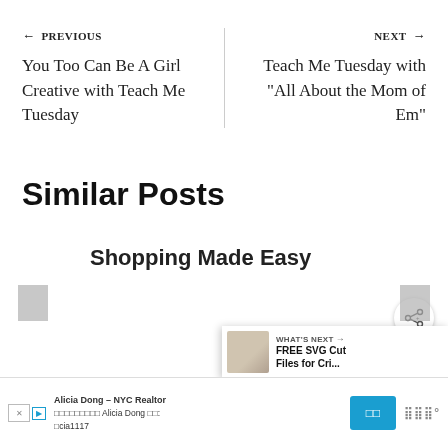← PREVIOUS
You Too Can Be A Girl Creative with Teach Me Tuesday
NEXT →
Teach Me Tuesday with "All About the Mom of Em"
Similar Posts
Shopping Made Easy
[Figure (other): What's Next bar with thumbnail image and text: FREE SVG Cut Files for Cri...]
[Figure (other): Advertisement bar: Alicia Dong - NYC Realtor with Korean text and blue button]